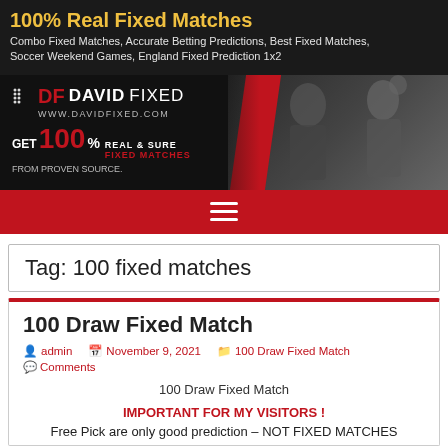100% Real Fixed Matches
Combo Fixed Matches, Accurate Betting Predictions, Best Fixed Matches, Soccer Weekend Games, England Fixed Prediction 1x2
[Figure (illustration): David Fixed website banner with logo, '100% Real & Sure Fixed Matches' text, and two soccer players in the background on a dark red and black background.]
[Figure (infographic): Red navigation bar with hamburger menu icon (three white horizontal lines)]
Tag: 100 fixed matches
100 Draw Fixed Match
admin  November 9, 2021  100 Draw Fixed Match  Comments
100 Draw Fixed Match
IMPORTANT FOR MY VISITORS !
Free Pick are only good prediction – NOT FIXED MATCHES